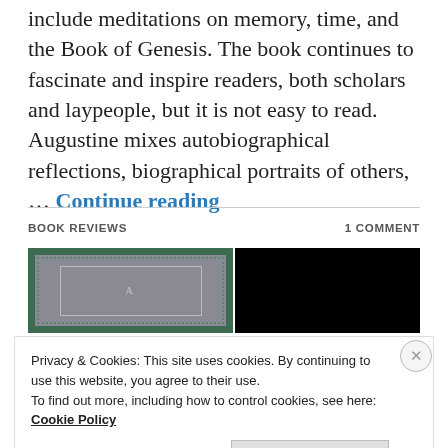include meditations on memory, time, and the Book of Genesis. The book continues to fascinate and inspire readers, both scholars and laypeople, but it is not easy to read. Augustine mixes autobiographical reflections, biographical portraits of others, … Continue reading
BOOK REVIEWS
1 COMMENT
[Figure (photo): A book cover image on the left (gray with green ornamental border) and a black rectangle on the right]
Privacy & Cookies: This site uses cookies. By continuing to use this website, you agree to their use.
To find out more, including how to control cookies, see here:
Cookie Policy
Close and accept